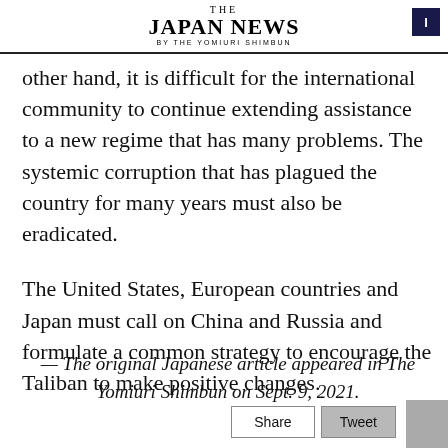THE JAPAN NEWS BY THE YOMIURI SHIMBUN
other hand, it is difficult for the international community to continue extending assistance to a new regime that has many problems. The systemic corruption that has plagued the country for many years must also be eradicated.
The United States, European countries and Japan must call on China and Russia and formulate a common strategy to encourage the Taliban to make positive changes.
— The original Japanese article appeared in The Yomiuri Shimbun on Sept. 9, 2021.